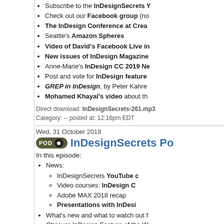Subscribe to the InDesignSecrets Y
Check out our Facebook group (no
The InDesign Conference at Crea
Seattle's Amazon Spheres
Video of David's Facebook Live in
New issues of InDesign Magazine
Anne-Marie's InDesign CC 2019 Ne
Post and vote for InDesign feature
GREP in InDesign, by Peter Kahre
Mohamed Khayal's video about th
Direct download: InDesignSecrets-261.mp3
Category: -- posted at: 12:16pm EDT
Wed, 31 October 2018
InDesignSecrets Po
In this episode:
News:
InDesignSecrets YouTube c
Video courses:  InDesign C
Adobe MAX 2018 recap
Presentations with InDesi
What's new and what to watch out f
Obscure InDesign Feature of the W
News and special offers from our sponso
> The InDesign Conference:  If you use Ac InDesignSecrets hosts Anne-Marie Concepo over 30 sessions and four in-depth half-day yourself, register today! Discounts availabl